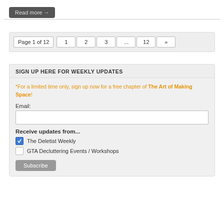Read more →
Page 1 of 12  1  2  3  ...  12  »
SIGN UP HERE FOR WEEKLY UPDATES
*For a limited time only, sign up now for a free chapter of The Art of Making Space!
Email:
Receive updates from...
The Deletist Weekly
GTA Decluttering Events / Workshops
Subscribe